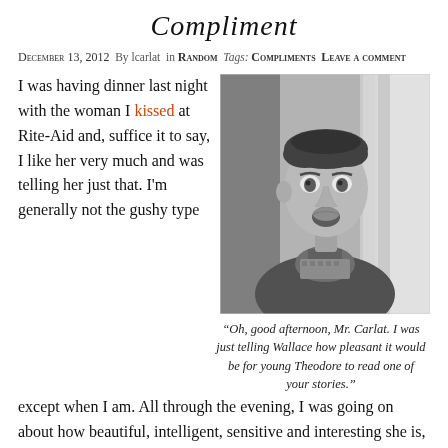Compliment
December 13, 2012  By lcarlat  in Random  Tags: Compliments  Leave a comment
[Figure (photo): Black and white photo of a young man looking surprised, wearing a jacket, standing near a staircase railing]
“Oh, good afternoon, Mr. Carlat. I was just telling Wallace how pleasant it would be for young Theodore to read one of your stories.”
I was having dinner last night with the woman I kissed at Rite-Aid and, suffice it to say, I like her very much and was telling her just that. I’m generally not the gushy type except when I am. All through the evening, I was going on about how beautiful, intelligent, sensitive and interesting she is, and as I did, she nervously laughed.